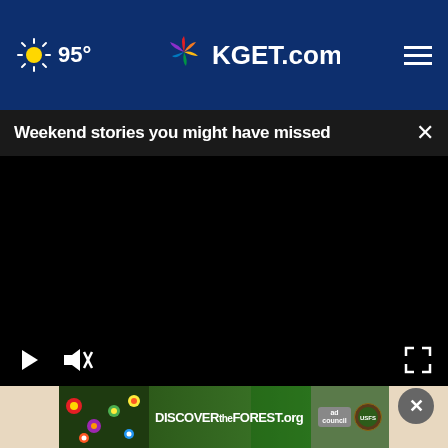95° KGET.com
Weekend stories you might have missed
[Figure (screenshot): Black video player with play, mute, and fullscreen controls at bottom]
[Figure (photo): Background image partially visible at bottom]
[Figure (other): DISCOVERtheFOREST.org advertisement banner with Ad Council and US Forest Service logos]